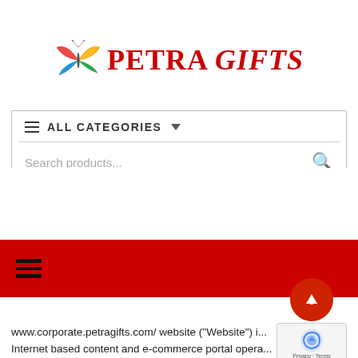[Figure (logo): Petra Gifts logo with colorful butterfly and red bold italic text reading 'Petra Gifts']
[Figure (screenshot): Website search UI with 'ALL CATEGORIES' dropdown and 'Search products...' text field with magnifier icon]
[Figure (screenshot): Red navigation bar with hamburger menu icon]
[Figure (screenshot): Red circular scroll-up button with upward arrow and reCAPTCHA widget]
www.corporate.petragifts.com/ website (“Website”) i... Internet based content and e-commerce portal opera... Petra Portraits Printe...